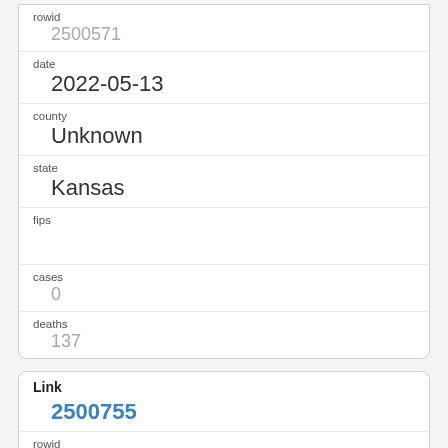| field | value |
| --- | --- |
| rowid | 2500571 |
| date | 2022-05-13 |
| county | Unknown |
| state | Kansas |
| fips |  |
| cases | 0 |
| deaths | 137 |
| field | value |
| --- | --- |
| Link | 2500755 |
| rowid | 2500755 |
| date | 2022-05-13 |